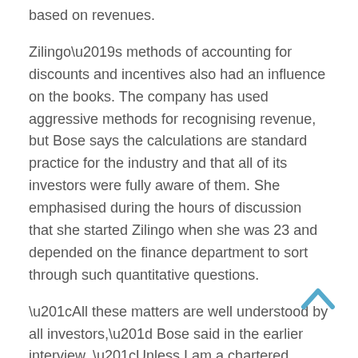based on revenues.
Zilingo’s methods of accounting for discounts and incentives also had an influence on the books. The company has used aggressive methods for recognising revenue, but Bose says the calculations are standard practice for the industry and that all of its investors were fully aware of them. She emphasised during the hours of discussion that she started Zilingo when she was 23 and depended on the finance department to sort through such quantitative questions.
“All these matters are well understood by all investors,” Bose said in the earlier interview. “Unless I am a chartered accountant I cannot touch the books, let alone cook the books.”
Absent Audits